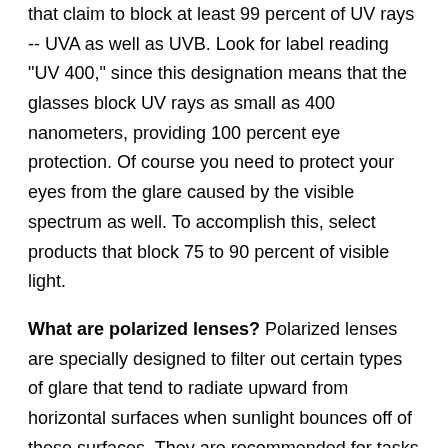that claim to block at least 99 percent of UV rays -- UVA as well as UVB. Look for label reading "UV 400," since this designation means that the glasses block UV rays as small as 400 nanometers, providing 100 percent eye protection. Of course you need to protect your eyes from the glare caused by the visible spectrum as well. To accomplish this, select products that block 75 to 90 percent of visible light.
What are polarized lenses? Polarized lenses are specially designed to filter out certain types of glare that tend to radiate upward from horizontal surfaces when sunlight bounces off of these surfaces. They are recommended for tasks such as boating, fishing, skiing, golfing, jogging, and driving. Most polarized lenses will bear a label identifying them as such.